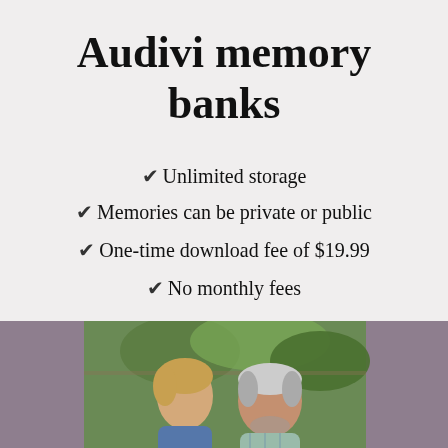Audivi memory banks
Unlimited storage
Memories can be private or public
One-time download fee of $19.99
No monthly fees
[Figure (photo): Elderly man and younger woman looking down together, outdoors with greenery in background, set against a muted purple/mauve background panel]